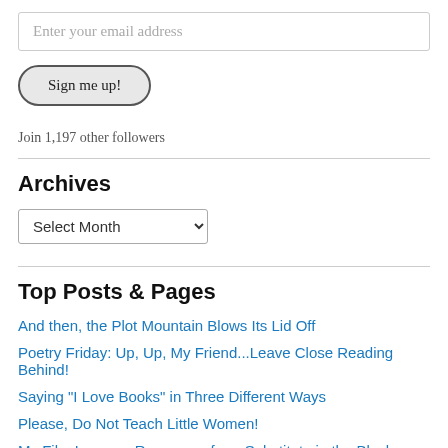Enter your email address
Sign me up!
Join 1,197 other followers
Archives
Select Month
Top Posts & Pages
And then, the Plot Mountain Blows Its Lid Off
Poetry Friday: Up, Up, My Friend...Leave Close Reading Behind!
Saying "I Love Books" in Three Different Ways
Please, Do Not Teach Little Women!
My Film Lessons Resources for a Substitute in the Block Schedule
Stephen King's "On Writing": Passive Voice and Adverb Free